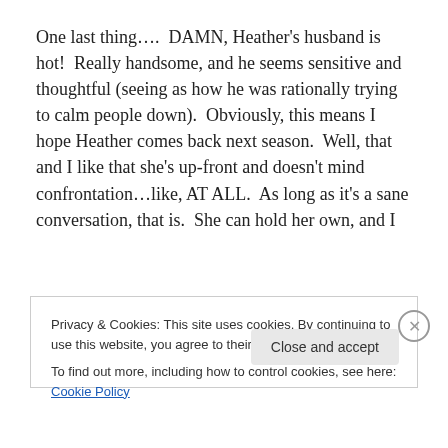One last thing….  DAMN, Heather's husband is hot!  Really handsome, and he seems sensitive and thoughtful (seeing as how he was rationally trying to calm people down).  Obviously, this means I hope Heather comes back next season.  Well, that and I like that she's up-front and doesn't mind confrontation…like, AT ALL.  As long as it's a sane conversation, that is.  She can hold her own, and I
Privacy & Cookies: This site uses cookies. By continuing to use this website, you agree to their use.
To find out more, including how to control cookies, see here: Cookie Policy